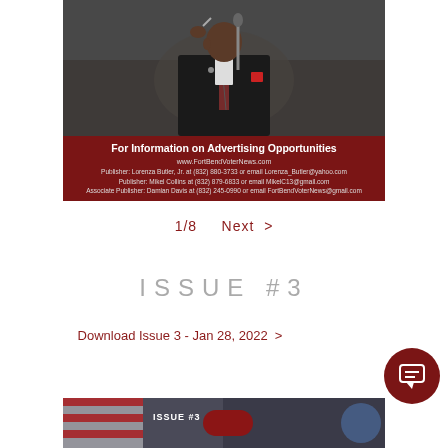[Figure (photo): Photo of a man in a dark suit at a podium/microphone, appearing to be speaking or gesturing, in an official setting]
For Information on Advertising Opportunities
www.FortBendVoterNews.com
Publisher: Lorenza Butler, Jr. at (832) 880-3733 or email Lorenza_Butler@yahoo.com
Publisher: Mikel Collins at (832) 879-6833 or email MikelC13@gmail.com
Associate Publisher: Damian Davis at (832) 245-0990 or email FortBendVoterNews@gmail.com
1/8   Next >
ISSUE #3
Download Issue 3 - Jan 28, 2022 >
[Figure (photo): Bottom cropped photo showing flags and partial ISSUE #3 text with red button elements]